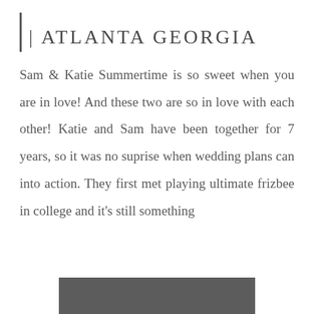| ATLANTA GEORGIA
Sam & Katie Summertime is so sweet when you are in love! And these two are so in love with each other! Katie and Sam have been together for 7 years, so it was no suprise when wedding plans can into action. They first met playing ultimate frizbee in college and it's still something
[Figure (photo): Dark grey/charcoal colored rectangular image bar at the bottom of the page]